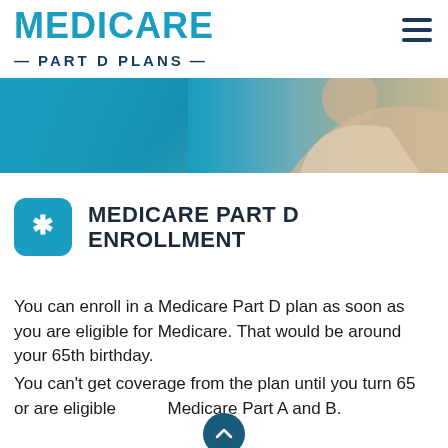MEDICARE PART D PLANS
[Figure (photo): Banner image showing a person in a white shirt, with teal/blue background on the left side]
MEDICARE PART D ENROLLMENT
You can enroll in a Medicare Part D plan as soon as you are eligible for Medicare. That would be around your 65th birthday.
You can't get coverage from the plan until you turn 65 or are eligible for Medicare Part A and B.